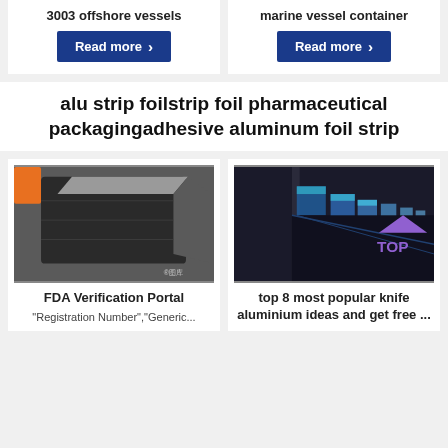3003 offshore vessels
marine vessel container
Read more
Read more
alu strip foilstrip foil pharmaceutical packagingadhesive aluminum foil strip
[Figure (photo): Black electronic device on a gray surface, possibly an external hard drive or similar hardware.]
[Figure (photo): Row of blue-tinted metallic/glass cubes in an industrial warehouse setting, with a purple triangle and 'TOP' overlay in the bottom right.]
FDA Verification Portal
"Registration Number","Generic...
top 8 most popular knife aluminium ideas and get free ...